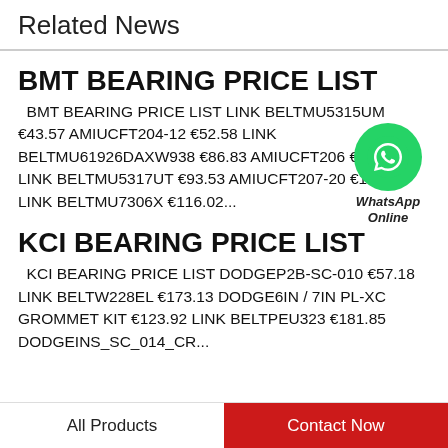Related News
BMT BEARING PRICE LIST
BMT BEARING PRICE LIST LINK BELTMU5315UM €43.57 AMIUCFT204-12 €52.58 LINK BELTMU61926DAXW938 €86.83 AMIUCFT206 €64.93 LINK BELTMU5317UT €93.53 AMIUCFT207-20 €102.76 LINK BELTMU7306X €116.02...
[Figure (logo): WhatsApp Online green bubble icon with label 'WhatsApp Online']
KCI BEARING PRICE LIST
KCI BEARING PRICE LIST DODGEP2B-SC-010 €57.18 LINK BELTW228EL €173.13 DODGE6IN / 7IN PL-XC GROMMET KIT €123.92 LINK BELTPEU323 €181.85 DODGEINS_SC_014_CR...
All Products   Contact Now